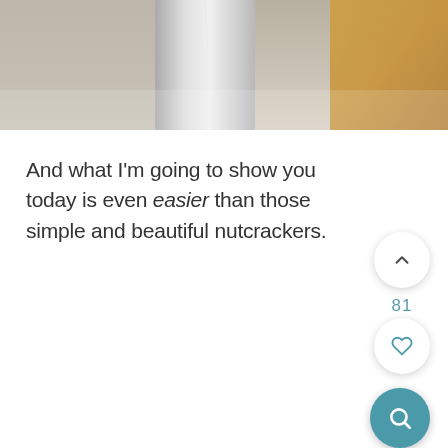[Figure (photo): Partial photo of what appears to be a metallic/silver kitchen appliance or container, cropped at the top of the page, with a warm amber/golden object visible at the right side]
And what I'm going to show you today is even easier than those simple and beautiful nutcrackers.